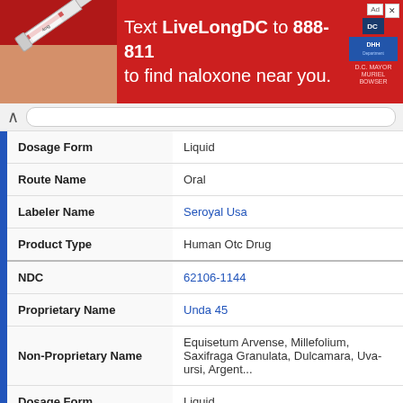[Figure (other): Red advertisement banner: Text LiveLongDC to 888-811 to find naloxone near you. DC and DHH logos shown. Close button visible.]
| Field | Value |
| --- | --- |
| Dosage Form | Liquid |
| Route Name | Oral |
| Labeler Name | Seroyal Usa |
| Product Type | Human Otc Drug |
| NDC | 62106-1144 |
| Proprietary Name | Unda 45 |
| Non-Proprietary Name | Equisetum Arvense, Millefolium, Saxifraga Granulata, Dulcamara, Uva-ursi, Argent... |
| Dosage Form | Liquid |
| Route Name | Oral |
| Labeler Name | Seroyal Usa |
| Product Type | Human Otc Drug |
| NDC |  |